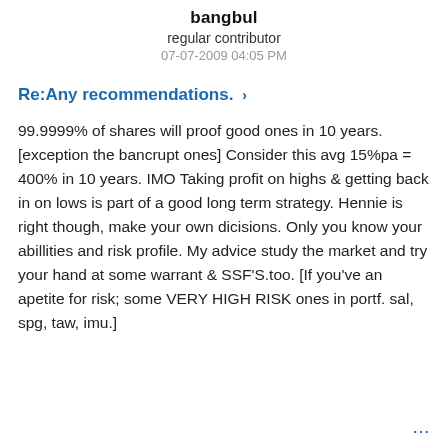bangbul
regular contributor
07-07-2009 04:05 PM
Re:Any recommendations. >
99.9999% of shares will proof good ones in 10 years. [exception the bancrupt ones] Consider this avg 15%pa = 400% in 10 years. IMO Taking profit on highs & getting back in on lows is part of a good long term strategy. Hennie is right though, make your own dicisions. Only you know your abillities and risk profile. My advice study the market and try your hand at some warrant & SSF'S.too. [If you've an apetite for risk; some VERY HIGH RISK ones in portf. sal, spg, taw, imu.]